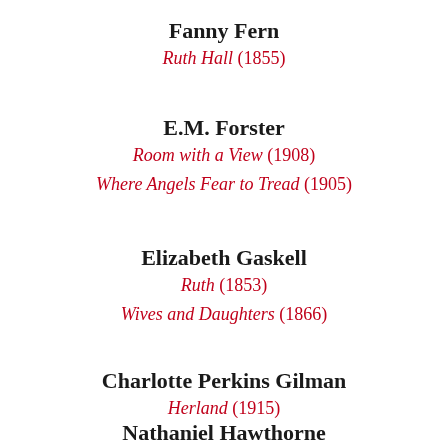Fanny Fern
Ruth Hall (1855)
E.M. Forster
Room with a View (1908)
Where Angels Fear to Tread (1905)
Elizabeth Gaskell
Ruth (1853)
Wives and Daughters (1866)
Charlotte Perkins Gilman
Herland (1915)
Nathaniel Hawthorne